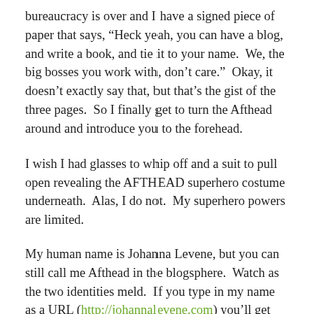bureaucracy is over and I have a signed piece of paper that says, “Heck yeah, you can have a blog, and write a book, and tie it to your name.  We, the big bosses you work with, don’t care.”  Okay, it doesn’t exactly say that, but that’s the gist of the three pages.  So I finally get to turn the Afthead around and introduce you to the forehead.
I wish I had glasses to whip off and a suit to pull open revealing the AFTHEAD superhero costume underneath.  Alas, I do not.  My superhero powers are limited.
My human name is Johanna Levene, but you can still call me Afthead in the blogsphere.  Watch as the two identities meld.  If you type in my name as a URL (http://johannalevene.com) you’ll get redirected to this blog.  In the near future I’ll set up something more slick so that typing in the johannalevene domain will take you to an about page explaining how you ended up on Afthead when you typed my name, but for now I